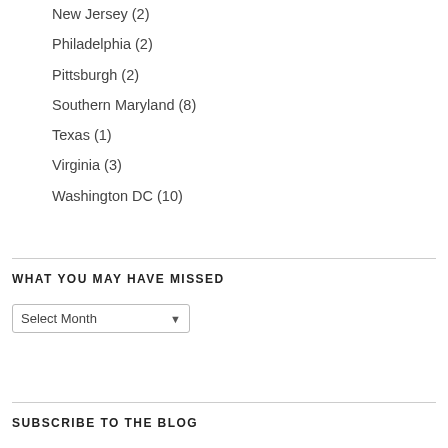New Jersey (2)
Philadelphia (2)
Pittsburgh (2)
Southern Maryland (8)
Texas (1)
Virginia (3)
Washington DC (10)
WHAT YOU MAY HAVE MISSED
Select Month
SUBSCRIBE TO THE BLOG